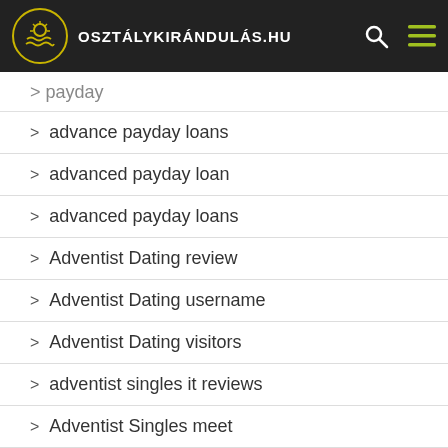osztálykirándulás.hu
advance payday loans
advanced payday loan
advanced payday loans
Adventist Dating review
Adventist Dating username
Adventist Dating visitors
adventist singles it reviews
Adventist Singles meet
adventist singles review
adventist singles visitors